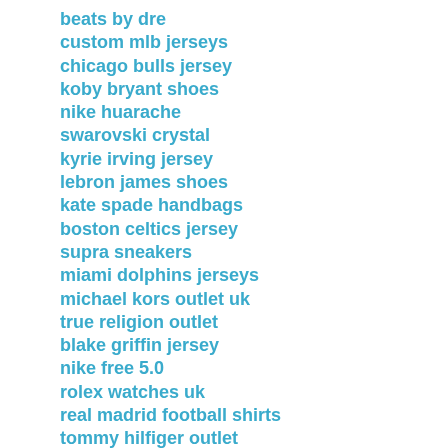beats by dre
custom mlb jerseys
chicago bulls jersey
koby bryant shoes
nike huarache
swarovski crystal
kyrie irving jersey
lebron james shoes
kate spade handbags
boston celtics jersey
supra sneakers
miami dolphins jerseys
michael kors outlet uk
true religion outlet
blake griffin jersey
nike free 5.0
rolex watches uk
real madrid football shirts
tommy hilfiger outlet
raiders jerseys
nike air max 90
nike running shoes